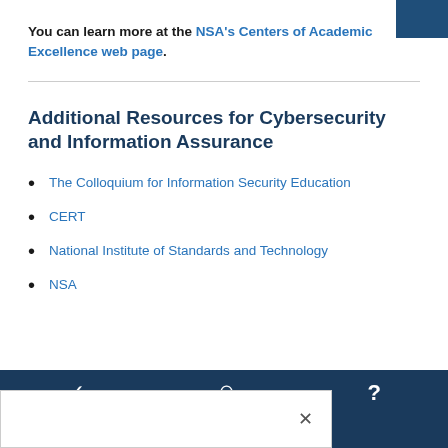You can learn more at the NSA's Centers of Academic Excellence web page.
Additional Resources for Cybersecurity and Information Assurance
The Colloquium for Information Security Education
CERT
National Institute of Standards and Technology
NSA